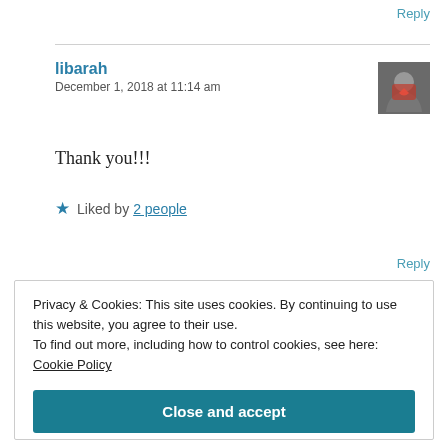Reply
libarah
December 1, 2018 at 11:14 am
Thank you!!!
★ Liked by 2 people
Reply
Privacy & Cookies: This site uses cookies. By continuing to use this website, you agree to their use.
To find out more, including how to control cookies, see here: Cookie Policy
Close and accept